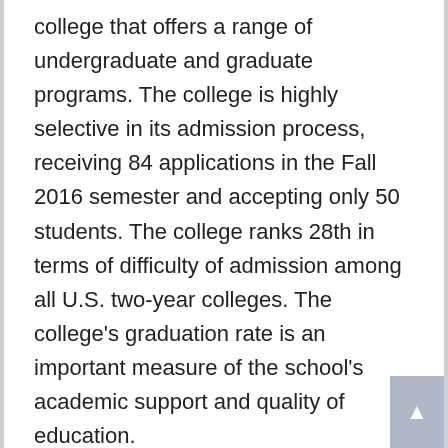college that offers a range of undergraduate and graduate programs. The college is highly selective in its admission process, receiving 84 applications in the Fall 2016 semester and accepting only 50 students. The college ranks 28th in terms of difficulty of admission among all U.S. two-year colleges. The college's graduation rate is an important measure of the school's academic support and quality of education.
Do You Know! What Is EDNOS And Why It Is Dangerous To Young Students
ATS Institute of Technology has published its tuition rates for 2 year associate's degree programs. These rates are a straight multiple of